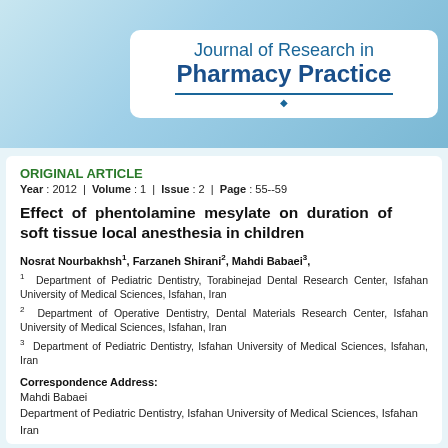[Figure (logo): Journal of Research in Pharmacy Practice banner header with blue gradient background]
ORIGINAL ARTICLE
Year : 2012 | Volume : 1 | Issue : 2 | Page : 55--59
Effect of phentolamine mesylate on duration of soft tissue local anesthesia in children
Nosrat Nourbakhsh1, Farzaneh Shirani2, Mahdi Babaei3,
1 Department of Pediatric Dentistry, Torabinejad Dental Research Center, Isfahan University of Medical Sciences, Isfahan, Iran
2 Department of Operative Dentistry, Dental Materials Research Center, Isfahan University of Medical Sciences, Isfahan, Iran
3 Department of Pediatric Dentistry, Isfahan University of Medical Sciences, Isfahan, Iran
Correspondence Address:
Mahdi Babaei
Department of Pediatric Dentistry, Isfahan University of Medical Sciences, Isfahan
Iran